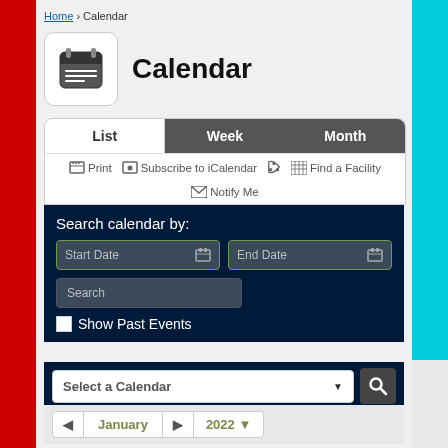Home › Calendar
Calendar
List | Week | Month
Print  Subscribe to iCalendar  Find a Facility  Notify Me
Search calendar by:
Start Date
End Date
Search
Show Past Events
Select a Calendar
◄  January  ►  2022 ▼